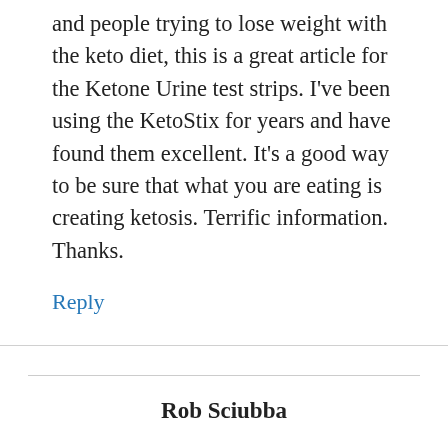and people trying to lose weight with the keto diet, this is a great article for the Ketone Urine test strips. I've been using the KetoStix for years and have found them excellent. It's a good way to be sure that what you are eating is creating ketosis. Terrific information. Thanks.
Reply
Rob Sciubba